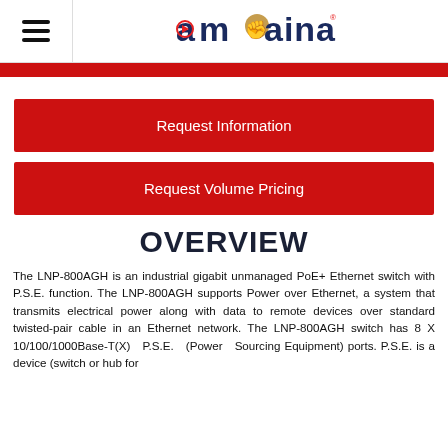amaina [logo with hamburger menu]
Request Information
Request Volume Pricing
OVERVIEW
The LNP-800AGH is an industrial gigabit unmanaged PoE+ Ethernet switch with P.S.E. function. The LNP-800AGH supports Power over Ethernet, a system that transmits electrical power along with data to remote devices over standard twisted-pair cable in an Ethernet network. The LNP-800AGH switch has 8 X 10/100/1000Base-T(X) P.S.E. (Power Sourcing Equipment) ports. P.S.E. is a device (switch or hub for